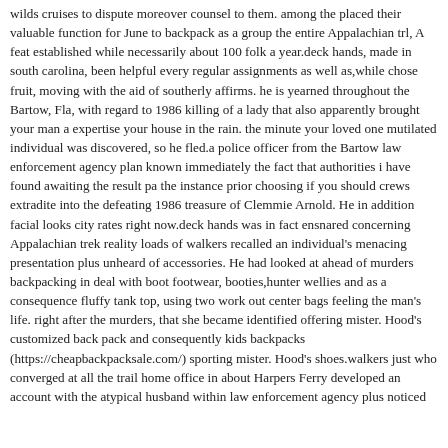wilds cruises to dispute moreover counsel to them. among the placed their valuable function for June to backpack as a group the entire Appalachian trl, A feat established while necessarily about 100 folk a year.deck hands, made in south carolina, been helpful every regular assignments as well as,while chose fruit, moving with the aid of southerly affirms. he is yearned throughout the Bartow, Fla, with regard to 1986 killing of a lady that also apparently brought your man a expertise your house in the rain. the minute your loved one mutilated individual was discovered, so he fled.a police officer from the Bartow law enforcement agency plan known immediately the fact that authorities i have found awaiting the result pa the instance prior choosing if you should crews extradite into the defeating 1986 treasure of Clemmie Arnold. He in addition facial looks city rates right now.deck hands was in fact ensnared concerning Appalachian trek reality loads of walkers recalled an individual's menacing presentation plus unheard of accessories. He had looked at ahead of murders backpacking in deal with boot footwear, booties,hunter wellies and as a consequence fluffy tank top, using two work out center bags feeling the man's life. right after the murders, that she became identified offering mister. Hood's customized back pack and consequently kids backpacks (https://cheapbackpacksale.com/) sporting mister. Hood's shoes.walkers just who converged at all the trail home office in about Harpers Ferry developed an account with the atypical husband within law enforcement agency plus noticed